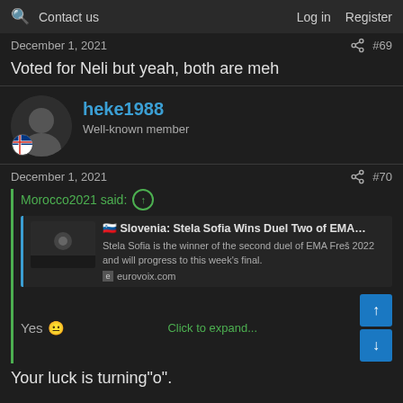🔍 Contact us | Log in | Register
December 1, 2021 #69
Voted for Neli but yeah, both are meh
heke1988 — Well-known member
December 1, 2021 #70
Morocco2021 said: ↑ Slovenia: Stela Sofia Wins Duel Two of EMA… Stela Sofia is the winner of the second duel of EMA Freš 2022 and will progress to this week's final. eurovoix.com Yes 😐 Click to expand...
Your luck is turning"o".